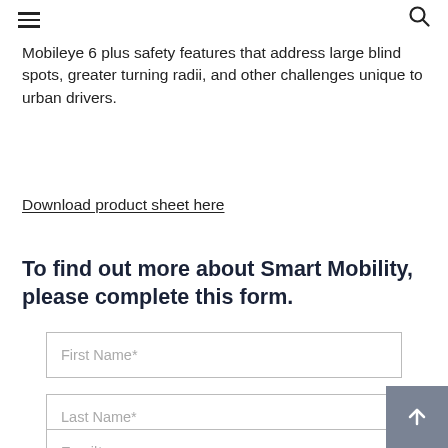[hamburger menu icon] [search icon]
Mobileye 6 plus safety features that address large blind spots, greater turning radii, and other challenges unique to urban drivers.
Download product sheet here
To find out more about Smart Mobility, please complete this form.
First Name*
Last Name*
Email*